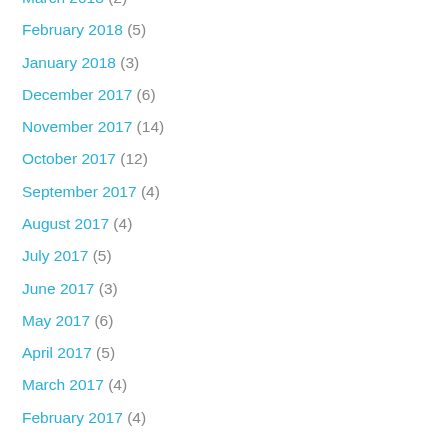March 2018 (2)
February 2018 (5)
January 2018 (3)
December 2017 (6)
November 2017 (14)
October 2017 (12)
September 2017 (4)
August 2017 (4)
July 2017 (5)
June 2017 (3)
May 2017 (6)
April 2017 (5)
March 2017 (4)
February 2017 (4)